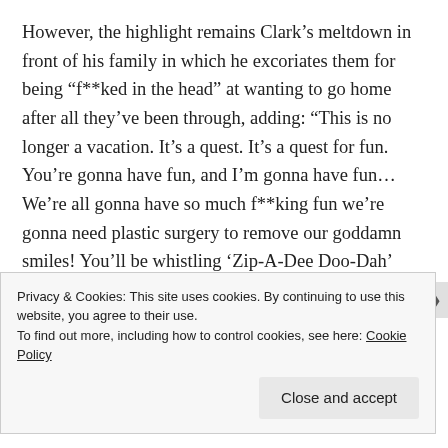However, the highlight remains Clark’s meltdown in front of his family in which he excoriates them for being “f**ked in the head” at wanting to go home after all they’ve been through, adding: “This is no longer a vacation. It’s a quest. It’s a quest for fun. You’re gonna have fun, and I’m gonna have fun… We’re all gonna have so much f**king fun we’re gonna need plastic surgery to remove our goddamn smiles! You’ll be whistling ‘Zip-A-Dee Doo-Dah’
Privacy & Cookies: This site uses cookies. By continuing to use this website, you agree to their use.
To find out more, including how to control cookies, see here: Cookie Policy
Close and accept